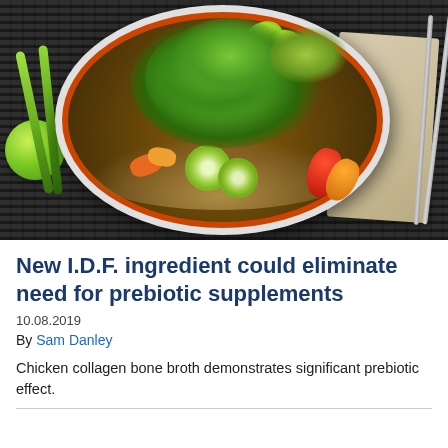[Figure (photo): Overhead view of a bowl of broth soup with herbs, vegetables, sliced cucumbers, colorful peppers, lime wedges, and garnishes, on a dark woven mat with chopsticks, a linen napkin, and lime halves nearby.]
New I.D.F. ingredient could eliminate need for prebiotic supplements
10.08.2019
By Sam Danley
Chicken collagen bone broth demonstrates significant prebiotic effect.